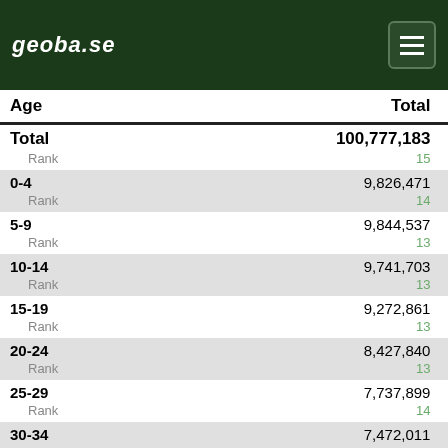geoba.se — Population 2023
| Age | Total | Female | Male |
| --- | --- | --- | --- |
| Total | 100,777,183 | 49,945,227 | 50,831,956 |
| Rank | 15 |  |  |
| 0-4 | 9,826,471 | 4,799,620 | 5,026,851 |
| Rank | 14 | 14 | 14 |
| 5-9 | 9,844,537 | 4,809,926 | 5,034,611 |
| Rank | 13 | 13 | 13 |
| 10-14 | 9,741,703 | 4,761,493 | 4,980,210 |
| Rank | 13 | 13 | 13 |
| 15-19 | 9,272,861 | 4,534,839 | 4,738,022 |
| Rank | 13 | 13 | 13 |
| 20-24 | 8,427,840 | 4,125,389 | 4,302,451 |
| Rank | 13 | 13 | 13 |
| 25-29 | 7,737,899 | 3,790,280 | 3,947,619 |
| Rank | 14 | 14 | 14 |
| 30-34 | 7,472,011 | 3,641,230 | 3,830,781 |
| Rank | 15 | 15 | 15 |
| 35-39 | 7,701,059 | 3,738,685 | 3,962,374 |
| Rank | 14 | 14 | 14 |
| 40-44 | 7,178,102 | 3,469,058 | 3,709,044 |
| Rank | 15 | 15 | 15 |
| 45-49 | 5,397,066 | 2,592,835 | 2,804,231 |
| Rank | 16 | 17 | 16 |
| 50-54 | 4,271,852 | 2,208,308 | 2,063,544 |